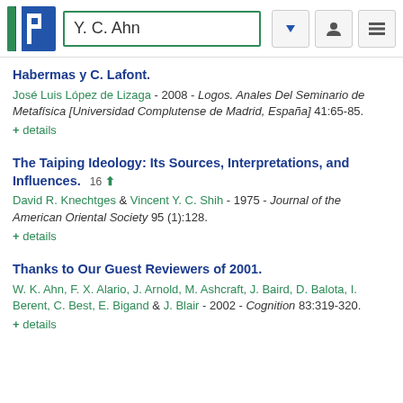Y. C. Ahn
Habermas y C. Lafont.
José Luis López de Lizaga - 2008 - Logos. Anales Del Seminario de Metafísica [Universidad Complutense de Madrid, España] 41:65-85.
+ details
The Taiping Ideology: Its Sources, Interpretations, and Influences.
David R. Knechtges & Vincent Y. C. Shih - 1975 - Journal of the American Oriental Society 95 (1):128.
+ details
Thanks to Our Guest Reviewers of 2001.
W. K. Ahn, F. X. Alario, J. Arnold, M. Ashcraft, J. Baird, D. Balota, I. Berent, C. Best, E. Bigand & J. Blair - 2002 - Cognition 83:319-320.
+ details